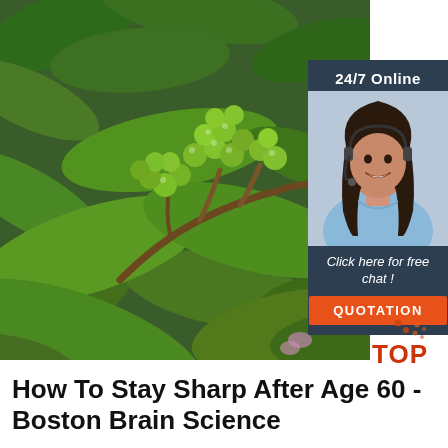[Figure (photo): Close-up photo of green coffee berries (fruits) on a branch with large green leaves, photographed outdoors.]
[Figure (infographic): Advertisement box with dark navy background showing '24/7 Online' text, a photo of a smiling woman with a headset, italic text 'Click here for free chat!', and an orange button labeled 'QUOTATION'.]
[Figure (logo): TOP logo with red text 'TOP' and orange dots arranged above it forming a decorative pattern.]
How To Stay Sharp After Age 60 - Boston Brain Science